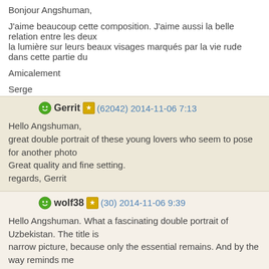Bonjour Angshuman,

J'aime beaucoup cette composition. J'aime aussi la belle relation entre les deux la lumière sur leurs beaux visages marqués par la vie rude dans cette partie du

Amicalement

Serge
Gerrit (62042) 2014-11-06 7:13
Hello Angshuman,
great double portrait of these young lovers who seem to pose for another photo
Great quality and fine setting.
regards, Gerrit
wolf38 (30) 2014-11-06 9:39
Hello Angshuman. What a fascinating double portrait of Uzbekistan. The title is narrow picture, because only the essential remains. And by the way reminds me beautiful country and its friendly people.
Rgds, Wolfgang.
holmertz (103858) 2014-11-06 10:51